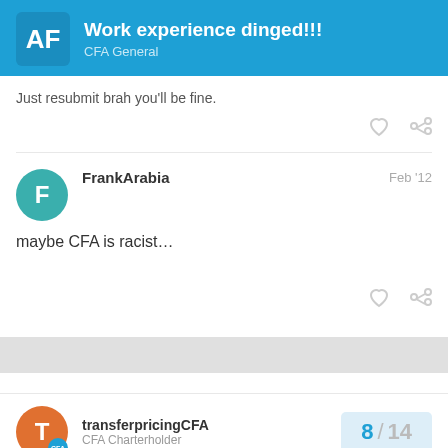Work experience dinged!!! CFA General
Just resubmit brah you'll be fine.
FrankArabia  Feb '12
maybe CFA is racist…
transferpricingCFA  CFA Charterholder  8 / 14